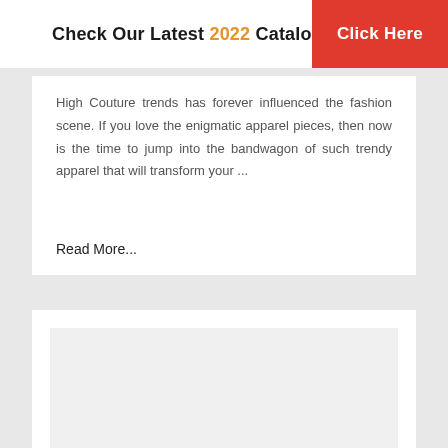Check Our Latest 2022 Catalogue. Click Here
High Couture trends has forever influenced the fashion scene. If you love the enigmatic apparel pieces, then now is the time to jump into the bandwagon of such trendy apparel that will transform your ...
Read More...
[Figure (other): White card with inner light gray placeholder image area]